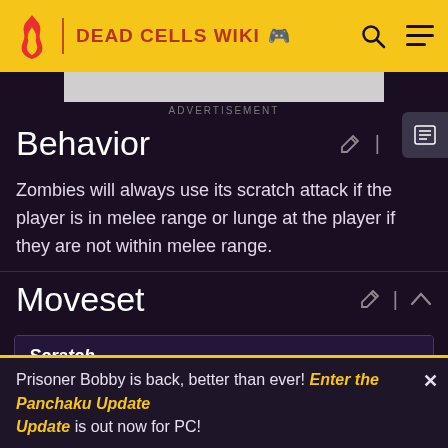DEAD CELLS WIKI
ADVERTISEMENT
Behavior
Zombies will always use its scratch attack if the player is in melee range or lunge at the player if they are not within melee range.
Moveset
| Scratch |
| --- |
Prisoner Bobby is back, better than ever! Enter the Panchaku Update is out now for PC!